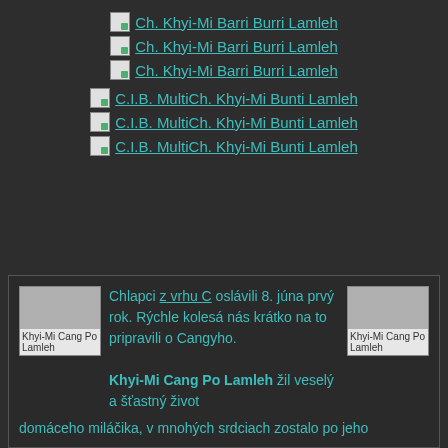Ch. Khyi-Mi Barri Burri Lamleh
Ch. Khyi-Mi Barri Burri Lamleh
Ch. Khyi-Mi Barri Burri Lamleh
C.I.B. MultiCh. Khyi-Mi Bunti Lamleh
C.I.B. MultiCh. Khyi-Mi Bunti Lamleh
C.I.B. MultiCh. Khyi-Mi Bunti Lamleh
Chlapci z vrhu C oslávili 8. júna prvý rok. Rýchle kolesá nás krátko na to pripravili o Cangyho. Khyi-Mi Cang Po Lamleh žil veselý a šťastný život domáceho miláčika, v mnohých srdciach zostalo po jeho